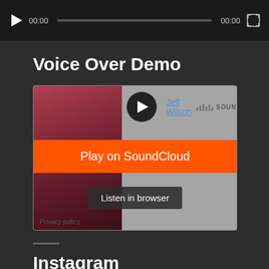[Figure (screenshot): Media player control bar with play button, time stamps 00:00 and 00:00, progress bar, and fullscreen button on dark background]
Voice Over Demo
[Figure (screenshot): SoundCloud embedded player showing Jeff Wilson artist, album art in red/maroon, Play on SoundCloud orange button, Listen in browser button, and Privacy policy link]
Instagram
[Figure (photo): Two Instagram photo thumbnails side by side - left shows outdoor scene with people and trees, right shows Audi building/dealership with blue sky]